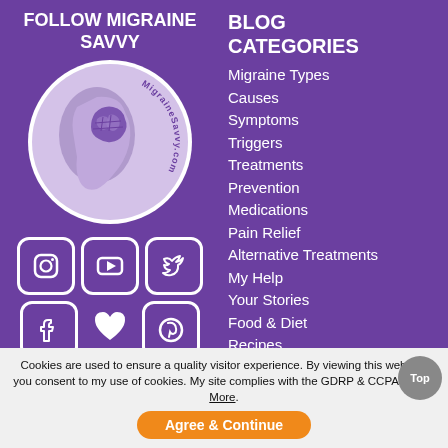FOLLOW MIGRAINE SAVVY
[Figure (logo): MigraineSavvy.com logo - circular emblem with a side profile of a head with a brain visible, text around the edge reading MigraineSavvy.com]
[Figure (infographic): Social media icons: Instagram, YouTube, Twitter, Facebook, Heart (favorites), Pinterest]
BLOG CATEGORIES
Migraine Types
Causes
Symptoms
Triggers
Treatments
Prevention
Medications
Pain Relief
Alternative Treatments
My Help
Your Stories
Food & Diet
Recipes
Cookies are used to ensure a quality visitor experience. By viewing this website, you consent to my use of cookies. My site complies with the GDRP & CCPA. Learn More.
Agree & Continue